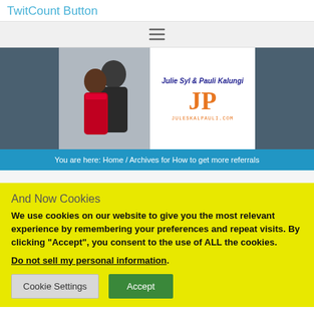TwitCount Button
[Figure (screenshot): Navigation hamburger menu icon]
[Figure (logo): Julie Syl & Pauli Kalungi website banner with couple photo and JP logo, juleskalpauli.com]
You are here: Home / Archives for How to get more referrals
And Now Cookies
We use cookies on our website to give you the most relevant experience by remembering your preferences and repeat visits. By clicking “Accept”, you consent to the use of ALL the cookies.
Do not sell my personal information.